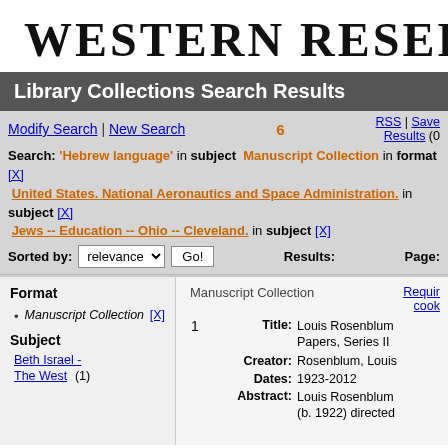WESTERN RESERVE
Library Collections Search Results
Modify Search | New Search   RSS | Save Results (0)
Search: 'Hebrew language' in subject  Manuscript Collection in format [X]  United States. National Aeronautics and Space Administration. in subject [X]  Jews -- Education -- Ohio -- Cleveland. in subject [X]
Sorted by: relevance  Go!   Page:
Results: Items
Format
Manuscript Collection [X]
Subject
Beth Israel - The West (1)
Manuscript Collection   Requires cookies
| # | Field | Value |
| --- | --- | --- |
| 1 | Title: | Louis Rosenblum Papers, Series II |
|  | Creator: | Rosenblum, Louis |
|  | Dates: | 1923-2012 |
|  | Abstract: | Louis Rosenblum (b. 1922) directed |